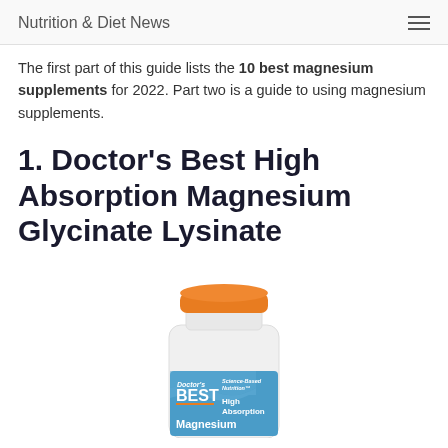Nutrition & Diet News
The first part of this guide lists the 10 best magnesium supplements for 2022. Part two is a guide to using magnesium supplements.
1. Doctor's Best High Absorption Magnesium Glycinate Lysinate
[Figure (photo): Doctor's Best High Absorption Magnesium supplement bottle with orange cap and blue label. Label reads: Doctor's BEST, Science-Based Nutrition, High Absorption Magnesium]